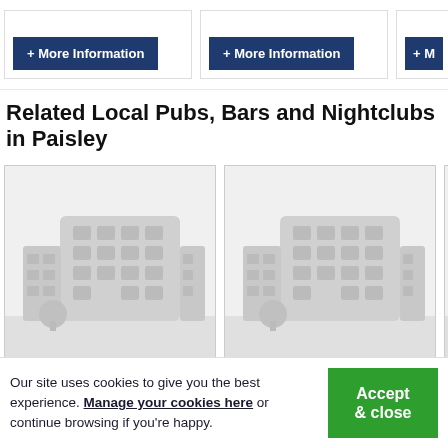[Figure (screenshot): Row of listing cards with '+ More Information' buttons in dark navy blue]
Related Local Pubs, Bars and Nightclubs in Paisley
[Figure (illustration): Two placeholder building images for pub/bar listings in Paisley, with a partial third card showing a right arrow]
Our site uses cookies to give you the best experience. Manage your cookies here or continue browsing if you're happy.